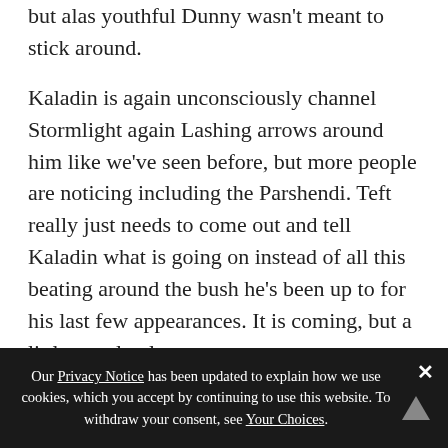but alas youthful Dunny wasn't meant to stick around.
Kaladin is again unconsciously channel Stormlight again Lashing arrows around him like we've seen before, but more people are noticing including the Parshendi. Teft really just needs to come out and tell Kaladin what is going on instead of all this beating around the bush he's been up to for his last few appearances. It is coming, but a little too slowly.
What role will Shen play in the future? The story so far seems to allude that he will betray them somehow, but I don't see it being that simple. He is working to be one of Bridge Four very hard. What would a Radiant Parshman be like? Or could he simply end up being the
Our Privacy Notice has been updated to explain how we use cookies, which you accept by continuing to use this website. To withdraw your consent, see Your Choices.